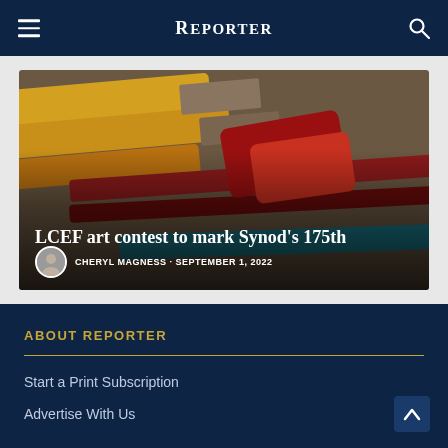REPORTER
[Figure (photo): Paint brushes and tubes of paint arranged together, used as background for the LCEF art contest article card. The image shows colorful paintbrushes with yellow and red paint tubes.]
LCEF art contest to mark Synod's 175th
CHERYL MAGNESS · SEPTEMBER 1, 2022
ABOUT REPORTER
Start a Print Subscription
Advertise With Us